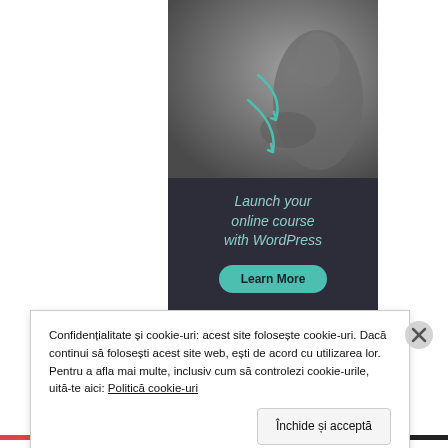[Figure (illustration): Advertisement banner: top half shows a dark grey photo of a person in yoga/ballet pose with teal curved arrows overlaid; bottom half has dark navy background with teal italic text 'Launch your online course with WordPress' and a teal 'Learn More' button]
Confidențialitate și cookie-uri: acest site folosește cookie-uri. Dacă continui să folosești acest site web, ești de acord cu utilizarea lor. Pentru a afla mai multe, inclusiv cum să controlezi cookie-urile, uită-te aici: Politică cookie-uri
Închide și acceptă